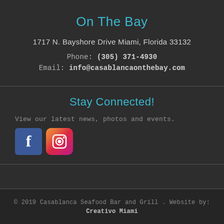On The Bay
1717 N. Bayshore Drive Miami, Florida 33132
Phone: (305) 371-4930
Email: info@casablancaonthebay.com
Stay Connected!
View our latest news, photos and events.
[Figure (logo): Facebook and Instagram social media icons]
© 2019 Casablanca Seafood Bar and Grill . Website by: Creativo Miami